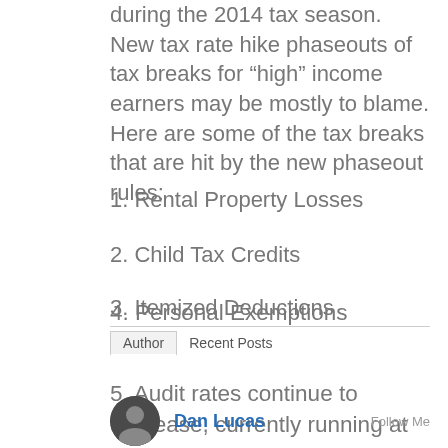during the 2014 tax season. New tax rate hike phaseouts of tax breaks for “high” income earners may be mostly to blame. Here are some of the tax breaks that are hit by the new phaseout rules:
1. Rental Property Losses
2. Child Tax Credits
3. Itemized Deductions
4. Personal Exemptions
5. Audit rates continue to decrease, currently running at 0.86%.
Author   Recent Posts
Dan Lucas   Follow Me